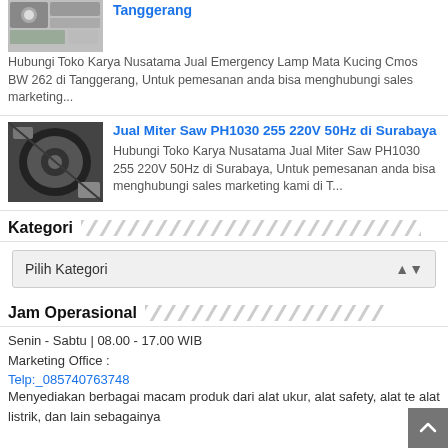[Figure (photo): Product thumbnail image of emergency lamp]
Tanggerang
Hubungi Toko Karya Nusatama Jual Emergency Lamp Mata Kucing Cmos BW 262 di Tanggerang, Untuk pemesanan anda bisa menghubungi sales marketing...
[Figure (photo): Product thumbnail image of miter saw]
Jual Miter Saw PH1030 255 220V 50Hz di Surabaya
Hubungi Toko Karya Nusatama Jual Miter Saw PH1030 255 220V 50Hz di Surabaya, Untuk pemesanan anda bisa menghubungi sales marketing kami di T...
Kategori
Pilih Kategori
Jam Operasional
Senin - Sabtu | 08.00 - 17.00 WIB
Marketing Office :
Telp:_085740763748
Menyediakan berbagai macam produk dari alat ukur, alat safety, alat te alat listrik, dan lain sebagainya